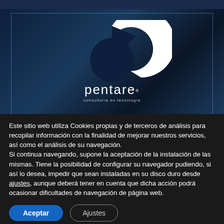[Figure (logo): Pentare logo — white ring/circle icon with a gap at top-right, and 'pentare' wordmark below with 'consultoría en tecnología' subtitle, on a dark navy blue background]
Este sitio web utiliza Cookies propias y de terceros de análisis para recopilar información con la finalidad de mejorar nuestros servicios, así como el análisis de su navegación.
Si continua navegando, supone la aceptación de la instalación de las mismas. Tiene la posibilidad de configurar su navegador pudiendo, si así lo desea, impedir que sean instaladas en su disco duro desde ajustes, aunque deberá tener en cuenta que dicha acción podrá ocasionar dificultades de navegación de página web.